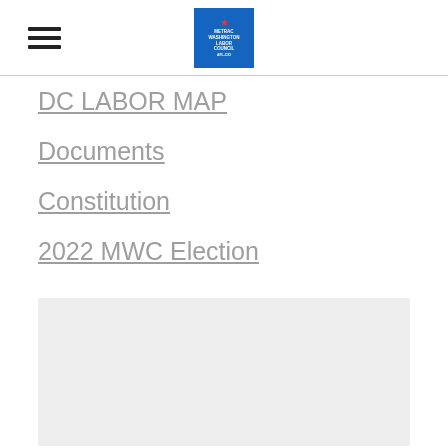DC LABOR MAP
Documents
Constitution
2022 MWC Election
[Figure (other): Light gray content placeholder box]